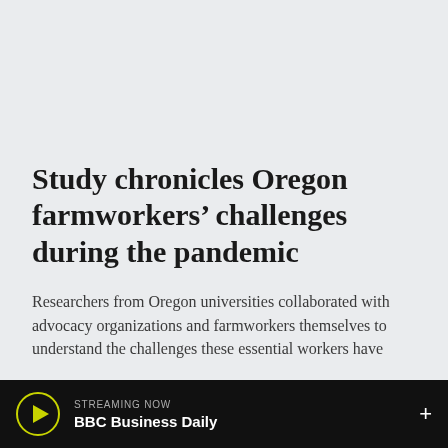Study chronicles Oregon farmworkers' challenges during the pandemic
Researchers from Oregon universities collaborated with advocacy organizations and farmworkers themselves to understand the challenges these essential workers have
STREAMING NOW BBC Business Daily